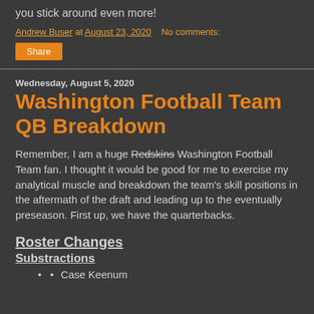you stick around even more!
Andrew Buser at August 23, 2020   No comments:
Share
Wednesday, August 5, 2020
Washington Football Team QB Breakdown
Remember, I am a huge Redskins Washington Football Team fan. I thought it would be good for me to exercise my analytical muscle and breakdown the team's skill positions in the aftermath of the draft and leading up to the eventually preseason. First up, we have the quarterbacks.
Roster Changes
Substractions
Case Keenum